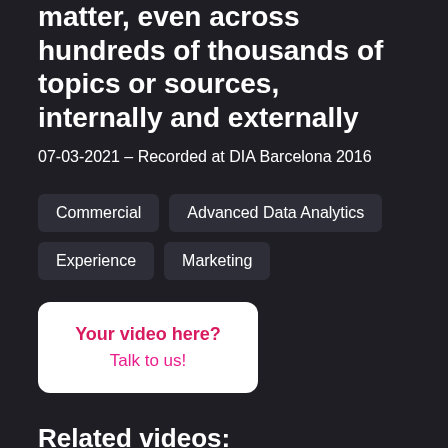matter, even across hundreds of thousands of topics or sources, internally and externally
07-03-2021 – Recorded at DIA Barcelona 2016
Commercial
Advanced Data Analytics
Experience
Marketing
[Figure (other): White box with pink bold text 'Your video here?' and pink text 'Talk to us!']
Related videos: